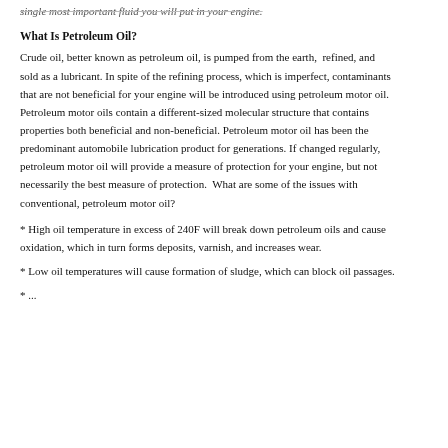single most important fluid you will put in your engine.
What Is Petroleum Oil?
Crude oil, better known as petroleum oil, is pumped from the earth, refined, and sold as a lubricant. In spite of the refining process, which is imperfect, contaminants that are not beneficial for your engine will be introduced using petroleum motor oil. Petroleum motor oils contain a different-sized molecular structure that contains properties both beneficial and non-beneficial. Petroleum motor oil has been the predominant automobile lubrication product for generations. If changed regularly, petroleum motor oil will provide a measure of protection for your engine, but not necessarily the best measure of protection. What are some of the issues with conventional, petroleum motor oil?
* High oil temperature in excess of 240F will break down petroleum oils and cause oxidation, which in turn forms deposits, varnish, and increases wear.
* Low oil temperatures will cause formation of sludge, which can block oil passages.
* ...